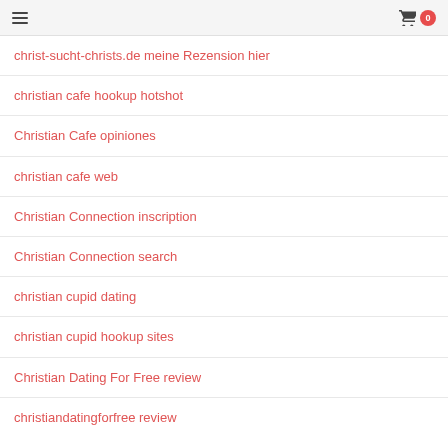Navigation header with hamburger menu and cart icon showing 0
christ-sucht-christs.de meine Rezension hier
christian cafe hookup hotshot
Christian Cafe opiniones
christian cafe web
Christian Connection inscription
Christian Connection search
christian cupid dating
christian cupid hookup sites
Christian Dating For Free review
christiandatingforfree review